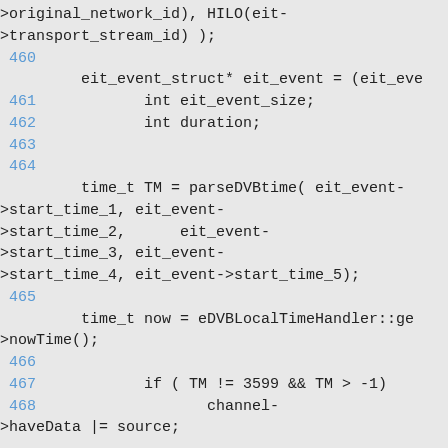[Figure (screenshot): Source code snippet in monospace font on light gray background, showing C++ code lines 460-468 with line numbers in blue. Code includes variable declarations (eit_event_struct, int eit_event_size, int duration), a parseDVBtime() call, an eDVBLocalTimeHandler::get->nowTime() call, and a conditional statement.]